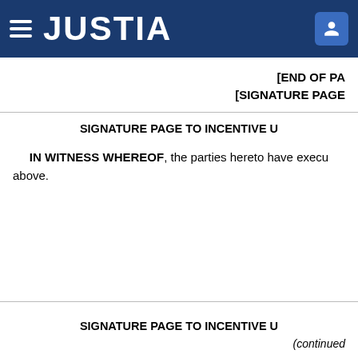JUSTIA
[END OF PA [SIGNATURE PAGE
SIGNATURE PAGE TO INCENTIVE U
IN WITNESS WHEREOF, the parties hereto have executed this Agreement as of the date first written above.
SIGNATURE PAGE TO INCENTIVE U
(continued